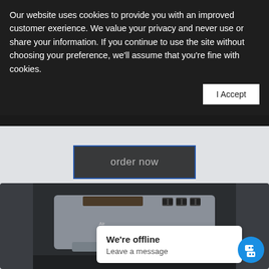Our website uses cookies to provide you with an improved customer exerience. We value your privacy and never use or share your information. If you continue to use the site without choosing your preference, we'll assume that you're fine with cookies.
I Accept
order now
[Figure (photo): A car center console storage organizer/docking unit, viewed from above at an angle, showing a dark plastic housing with a gray electronic module/device mounted inside, with connector ports visible at the top.]
We're offline
Leave a message